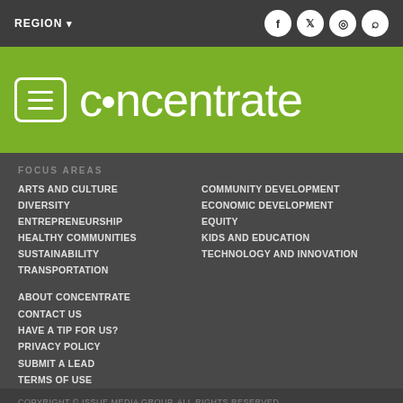REGION
[Figure (logo): Concentrate logo with hamburger menu icon on green background]
FOCUS AREAS
ARTS AND CULTURE
DIVERSITY
ENTREPRENEURSHIP
HEALTHY COMMUNITIES
SUSTAINABILITY
TRANSPORTATION
COMMUNITY DEVELOPMENT
ECONOMIC DEVELOPMENT
EQUITY
KIDS AND EDUCATION
TECHNOLOGY AND INNOVATION
ABOUT CONCENTRATE
CONTACT US
HAVE A TIP FOR US?
PRIVACY POLICY
SUBMIT A LEAD
TERMS OF USE
COPYRIGHT © ISSUE MEDIA GROUP. ALL RIGHTS RESERVED.